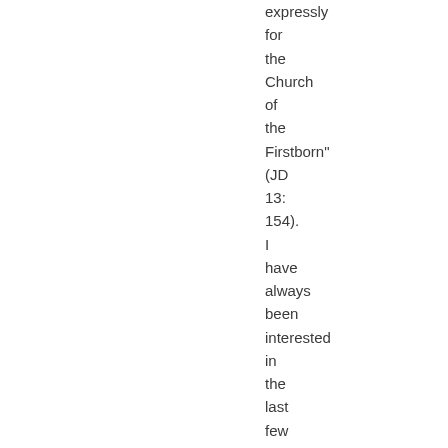expressly for the Church of the Firstborn" (JD 13: 154). I have always been interested in the last few verses of canonized scripture. I can't hardly find